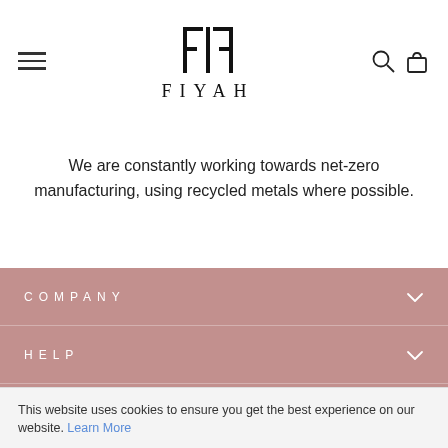[Figure (logo): FIYAH brand logo with stylized FF monogram above the text FIYAH, with hamburger menu on left, search and cart icons on right]
We are constantly working towards net-zero manufacturing, using recycled metals where possible.
COMPANY
HELP
[Figure (logo): FIYAH small logo in footer pink section]
This website uses cookies to ensure you get the best experience on our website. Learn More